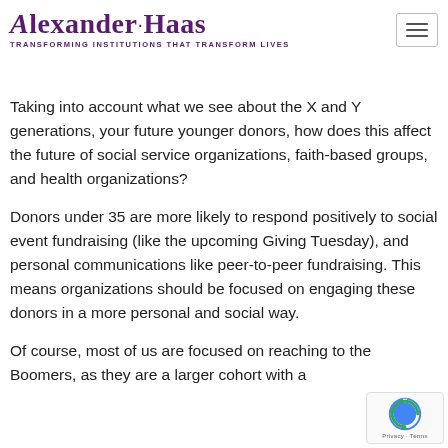Alexander Haas - Transforming Institutions That Transform Lives
Taking into account what we see about the X and Y generations, your future younger donors, how does this affect the future of social service organizations, faith-based groups, and health organizations?
Donors under 35 are more likely to respond positively to social event fundraising (like the upcoming Giving Tuesday), and personal communications like peer-to-peer fundraising. This means organizations should be focused on engaging these donors in a more personal and social way.
Of course, most of us are focused on reaching to the Boomers, as they are a larger cohort with a